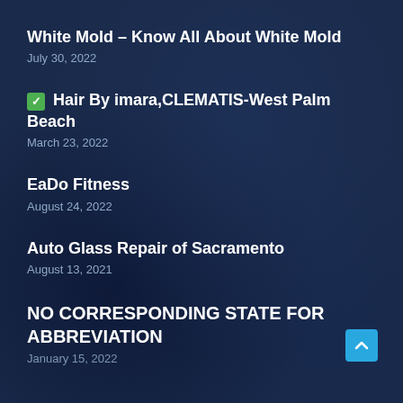White Mold – Know All About White Mold
July 30, 2022
✅ Hair By imara,CLEMATIS-West Palm Beach
March 23, 2022
EaDo Fitness
August 24, 2022
Auto Glass Repair of Sacramento
August 13, 2021
NO CORRESPONDING STATE FOR ABBREVIATION
January 15, 2022